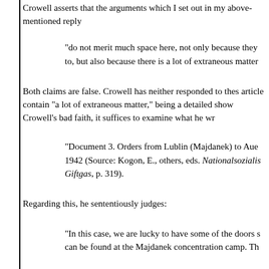Crowell asserts that the arguments which I set out in my above-mentioned reply
"do not merit much space here, not only because they to, but also because there is a lot of extraneous matter
Both claims are false. Crowell has neither responded to these article contain "a lot of extraneous matter," being a detailed show Crowell's bad faith, it suffices to examine what he wr
"Document 3. Orders from Lublin (Majdanek) to Aue 1942 (Source: Kogon, E., others, eds. Nationalsozialis Giftgas, p. 319).
Regarding this, he sententiously judges:
"In this case, we are lucky to have some of the doors s can be found at the Majdanek concentration camp. Th